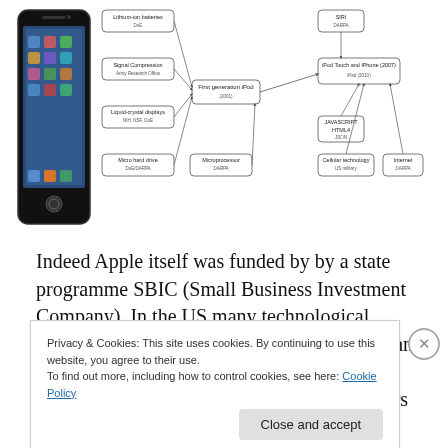[Figure (illustration): iPhone device photo on the left, and a flowchart on the right showing technology origins including: Lithium-ion batteries (DoE), Signal Compression (Army Research Office), Liquid-crystal displays (NIH, NSF, DoE), Micro hard drive (DoE/DARPA), leading to First generation iPod (2001), which leads to iPod Touch and iPhone (2007), iPad (2010). Also showing: SIRI (DARPA), JavaScript/HTML/JSON, Cellular technology (US military), Internet (DARPA), Microprocessor (DARPA).]
Indeed Apple itself was funded by by a state programme SBIC (Small Business Investment Company). In the US many technological innovations come from government defence and energy research programes like DARPA and ERDA. A key point that Mazzucato and others have made
Privacy & Cookies: This site uses cookies. By continuing to use this website, you agree to their use.
To find out more, including how to control cookies, see here: Cookie Policy